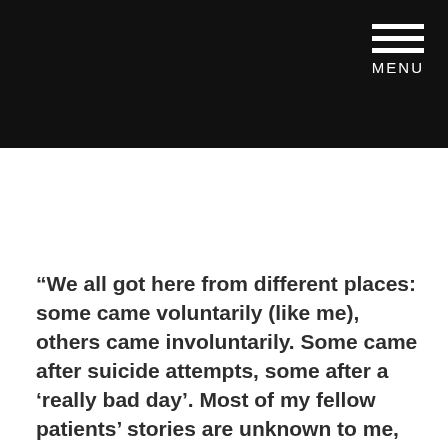MENU
“We all got here from different places: some came voluntarily (like me), others came involuntarily. Some came after suicide attempts, some after a ‘really bad day’. Most of my fellow patients’ stories are unknown to me, and that’s ok. Because, in the end, it